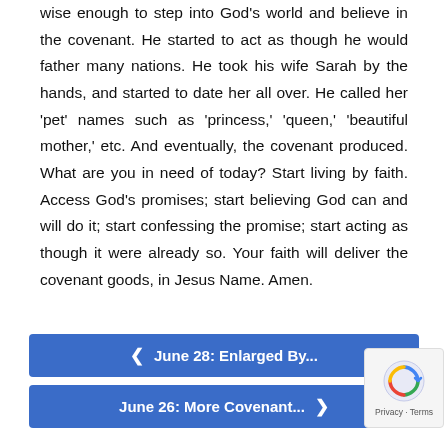wise enough to step into God's world and believe in the covenant. He started to act as though he would father many nations. He took his wife Sarah by the hands, and started to date her all over. He called her 'pet' names such as 'princess,' 'queen,' 'beautiful mother,' etc. And eventually, the covenant produced. What are you in need of today? Start living by faith. Access God's promises; start believing God can and will do it; start confessing the promise; start acting as though it were already so. Your faith will deliver the covenant goods, in Jesus Name. Amen.
❮ June 28: Enlarged By...
June 26: More Covenant... ❯